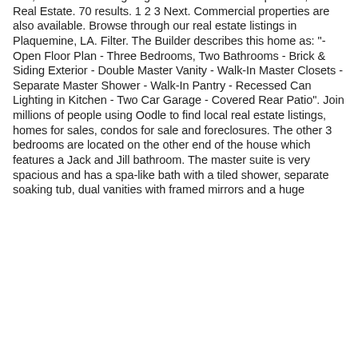feet, and has a 2 car garage. House for sale. Plaquemine, LA Real Estate. 70 results. 1 2 3 Next. Commercial properties are also available. Browse through our real estate listings in Plaquemine, LA. Filter. The Builder describes this home as: "- Open Floor Plan - Three Bedrooms, Two Bathrooms - Brick & Siding Exterior - Double Master Vanity - Walk-In Master Closets - Separate Master Shower - Walk-In Pantry - Recessed Can Lighting in Kitchen - Two Car Garage - Covered Rear Patio". Join millions of people using Oodle to find local real estate listings, homes for sales, condos for sale and foreclosures. The other 3 bedrooms are located on the other end of the house which features a Jack and Jill bathroom. The master suite is very spacious and has a spa-like bath with a tiled shower, separate soaking tub, dual vanities with framed mirrors and a huge